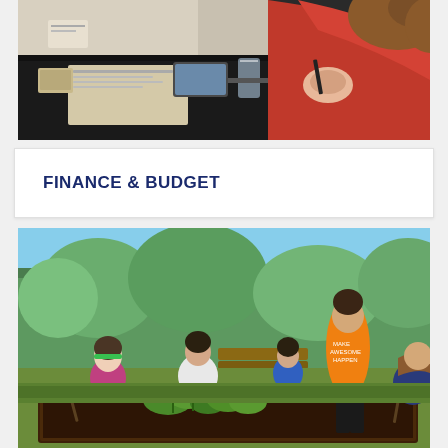[Figure (photo): Close-up photo of a person in a red sweater writing at a meeting table with papers, a glass of water, and other items on a dark tablecloth.]
FINANCE & BUDGET
[Figure (photo): Outdoor photo of several children gardening in a raised bed, with green trees in background. Children are planting seedlings in dark soil. One boy in orange shirt stands watching while others crouch and work in the dirt.]